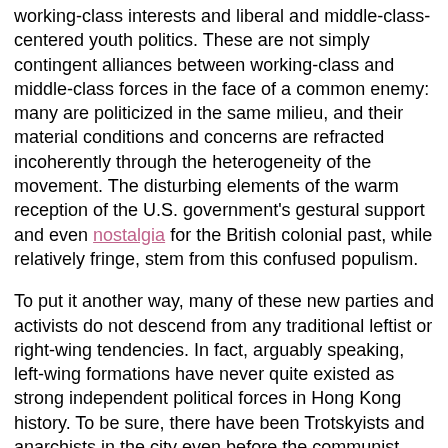working-class interests and liberal and middle-class-centered youth politics. These are not simply contingent alliances between working-class and middle-class forces in the face of a common enemy: many are politicized in the same milieu, and their material conditions and concerns are refracted incoherently through the heterogeneity of the movement. The disturbing elements of the warm reception of the U.S. government's gestural support and even nostalgia for the British colonial past, while relatively fringe, stem from this confused populism.
To put it another way, many of these new parties and activists do not descend from any traditional leftist or right-wing tendencies. In fact, arguably speaking, left-wing formations have never quite existed as strong independent political forces in Hong Kong history. To be sure, there have been Trotskyists and anarchists in the city even before the communist revolution in China in 1949. But these tendencies have struggled to thrive (in the face of both British colonial suppression and internal sectarian conflicts), and survived only in very small numbers up to this point. Some of the few organized remnants of these movements formed the older left-wing of the pan-democratic camp, the social democratic LSD and NWSC. Anything traditionally Maoist lost almost all credibility with the Hong Kong people in the riots of 1967, when ultra-left insurgents influenced by China's Cultural